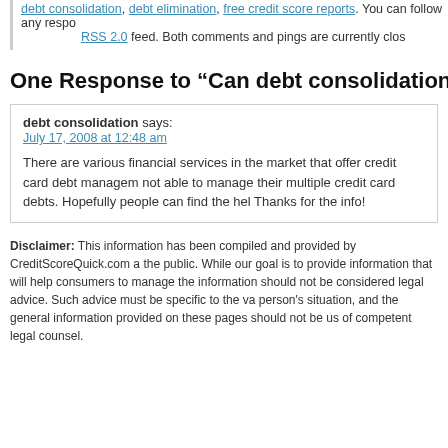debt consolidation, debt elimination, free credit score reports. You can follow any responses to RSS 2.0 feed. Both comments and pings are currently clos
One Response to “Can debt consolidation improve your c
debt consolidation says: July 17, 2008 at 12:48 am
There are various financial services in the market that offer credit card debt management to those who are not able to manage their multiple credit card debts. Hopefully people can find the help they need. Thanks for the info!
Disclaimer: This information has been compiled and provided by CreditScoreQuick.com and made available to the public. While our goal is to provide information that will help consumers to manage their credit, this information should not be considered legal advice. Such advice must be specific to the various circumstances of each person's situation, and the general information provided on these pages should not be used as a substitute for the advice of competent legal counsel.